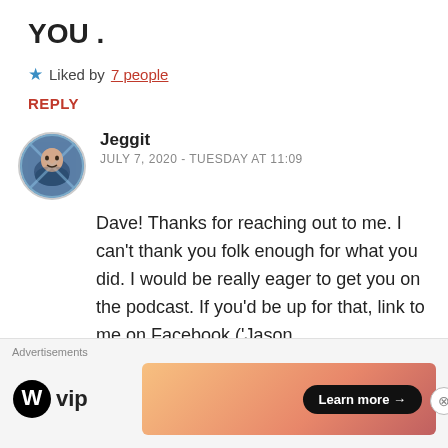YOU .
★ Liked by 7 people
REPLY
[Figure (illustration): Round avatar photo of commenter Jeggit — a person in a blue jacket with artistic overlay graphics]
Jeggit
JULY 7, 2020 - TUESDAY AT 11:09
Dave! Thanks for reaching out to me. I can't thank you folk enough for what you did. I would be really eager to get you on the podcast. If you'd be up for that, link to me on Facebook ('Jason
Advertisements
[Figure (logo): WordPress VIP logo — WordPress W circle logo followed by 'vip' text]
[Figure (infographic): Advertisement banner with orange-pink gradient, Learn more arrow button]